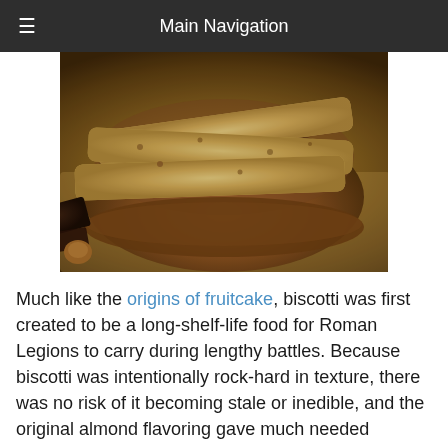Main Navigation
[Figure (photo): Photograph of biscotti cookies stacked in a round wooden bowl, with chocolate pieces and hazelnuts on a burlap cloth in the background]
Much like the origins of fruitcake, biscotti was first created to be a long-shelf-life food for Roman Legions to carry during lengthy battles. Because biscotti was intentionally rock-hard in texture, there was no risk of it becoming stale or inedible, and the original almond flavoring gave much needed nutrients to the soldiers. While almond is still a popular flavor option for today's variation, we think it's safe to say biscotti has come a long way since the Roman age. Over time, the rock-hard treat has evolved into less of a means to an end